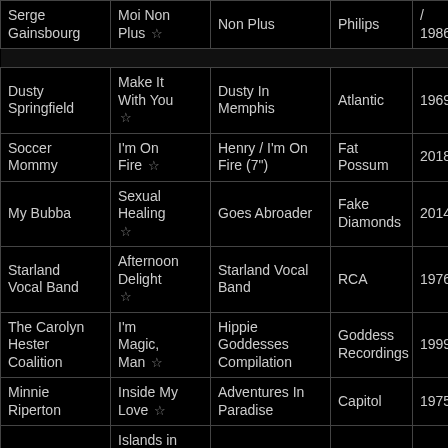| Artist | Song | Album | Label | Year |
| --- | --- | --- | --- | --- |
| Serge Gainsbourg | Moi Non Plus ☆ | Non Plus | Philips | / 1986 |
| Dusty Springfield | Make It With You ☆ | Dusty In Memphis | Atlantic | 1969 |
| Soccer Mommy | I'm On Fire ☆ | Henry / I'm On Fire (7") | Fat Possum | 2018 |
| My Bubba | Sexual Healing ☆ | Goes Abroader | Fake Diamonds | 2014 |
| Starland Vocal Band | Afternoon Delight ☆ | Starland Vocal Band | RCA | 1976 |
| The Carolyn Hester Coalition | I'm Magic, Man ☆ | Hippie Goddesses Compilation | Goddess Recordings | 1999 |
| Minnie Riperton | Inside My Love ☆ | Adventures In Paradise | Capitol | 1975 |
| Feist | Islands in the Stream | The Reminder | Polydor | 2008 |